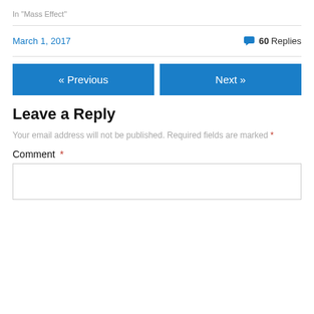In "Mass Effect"
March 1, 2017   💬 60 Replies
« Previous
Next »
Leave a Reply
Your email address will not be published. Required fields are marked *
Comment *